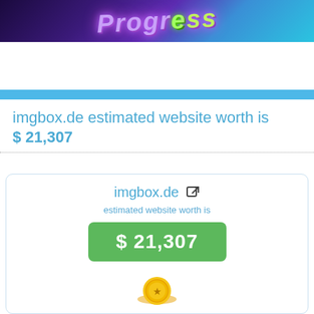[Figure (illustration): Banner image with purple/blue gradient background and stylized colorful italic text logo]
imgbox.de estimated website worth is $ 21,307
[Figure (infographic): Card showing imgbox.de with external link icon, subtitle 'estimated website worth is', green badge showing '$ 21,307', and a partial gold coin/seal at the bottom]